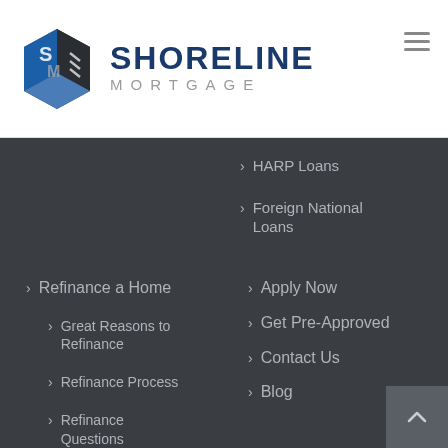[Figure (logo): Shoreline Mortgage logo with stylized blue and grey hexagonal icon and company name]
HARP Loans
Foreign National Loans
Refinance a Home
Great Reasons to Refinance
Refinance Process
Refinance Questions
Apply Now
Get Pre-Approved
Contact Us
Blog